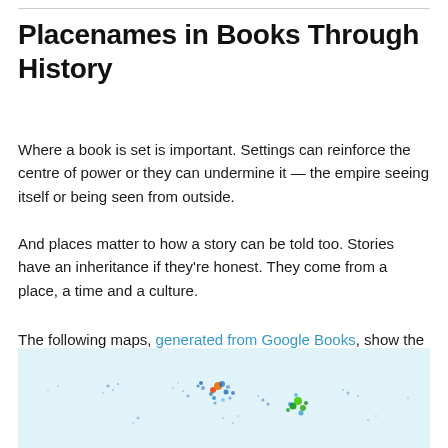Placenames in Books Through History
Where a book is set is important. Settings can reinforce the centre of power or they can undermine it — the empire seeing itself or being seen from outside.
And places matter to how a story can be told too. Stories have an inheritance if they're honest. They come from a place, a time and a culture.
The following maps, generated from Google Books, show the names of places in books over the years.
[Figure (map): A map showing placenames mentioned in books, with colored dots scattered across a world map on a light blue background. Clusters visible in Europe and other regions with green, red, and blue dots.]